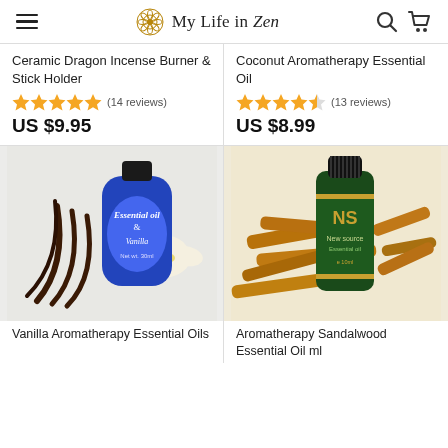My Life in Zen
Ceramic Dragon Incense Burner & Stick Holder
★★★★★ (14 reviews)
US $9.95
Coconut Aromatherapy Essential Oil
★★★★½ (13 reviews)
US $8.99
[Figure (photo): Blue bottle of Vanilla Essential Oil with vanilla beans and flower]
[Figure (photo): Green bottle of Aromatherapy Sandalwood Essential Oil with sandalwood sticks]
Vanilla Aromatherapy Essential Oils
Aromatherapy Sandalwood Essential Oil ml